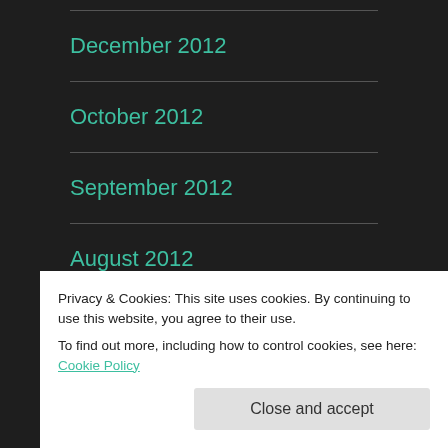December 2012
October 2012
September 2012
August 2012
July 2012
June 2012
Privacy & Cookies: This site uses cookies. By continuing to use this website, you agree to their use.
To find out more, including how to control cookies, see here: Cookie Policy
Close and accept